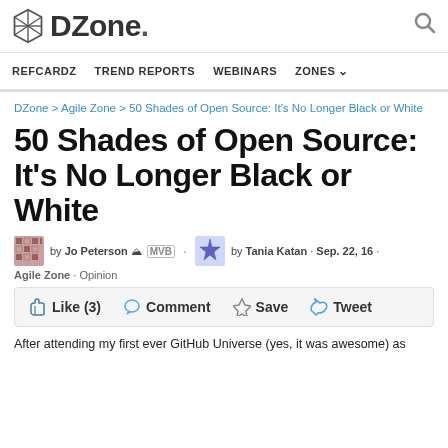DZone. | REFCARDZ | TREND REPORTS | WEBINARS | ZONES
DZone > Agile Zone > 50 Shades of Open Source: It's No Longer Black or White
50 Shades of Open Source: It's No Longer Black or White
by Jo Peterson  MVB · by Tania Katan · Sep. 22, 16 · Agile Zone · Opinion
Like (3)  Comment  Save  Tweet
After attending my first ever GitHub Universe (yes, it was awesome) as